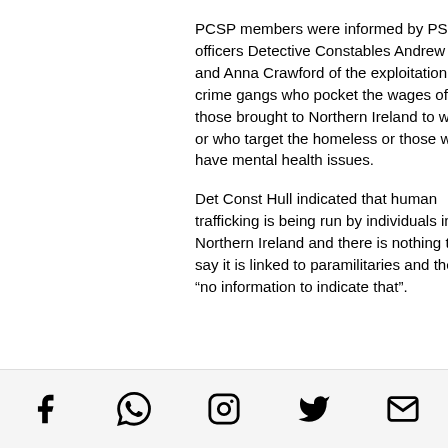PCSP members were informed by PSNI officers Detective Constables Andrew Hull and Anna Crawford of the exploitation by crime gangs who pocket the wages of those brought to Northern Ireland to work or who target the homeless or those who have mental health issues.
Det Const Hull indicated that human trafficking is being run by individuals in Northern Ireland and there is nothing to say it is linked to paramilitaries and there is “no information to indicate that”.
[Figure (other): Scroll-to-top button: circular button with an upward chevron arrow]
Social share icons: Facebook, WhatsApp, Instagram, Twitter, Email